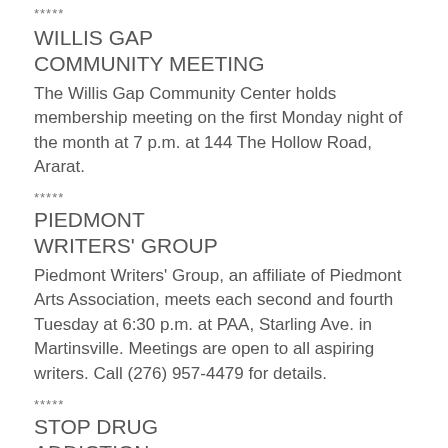*****
WILLIS GAP
COMMUNITY MEETING
The Willis Gap Community Center holds membership meeting on the first Monday night of the month at 7 p.m. at 144 The Hollow Road, Ararat.
*****
PIEDMONT
WRITERS' GROUP
Piedmont Writers' Group, an affiliate of Piedmont Arts Association, meets each second and fourth Tuesday at 6:30 p.m. at PAA, Starling Ave. in Martinsville. Meetings are open to all aspiring writers. Call (276) 957-4479 for details.
*****
STOP DRUG
ADDICTION